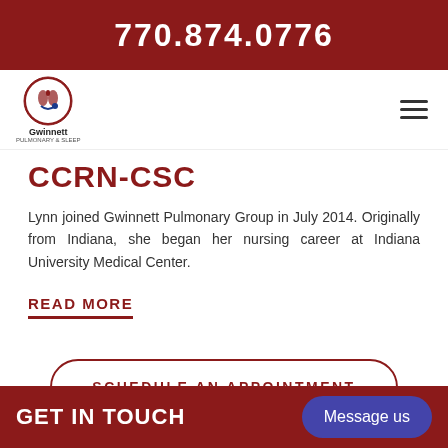770.874.0776
[Figure (logo): Gwinnett Pulmonary Group logo with circular emblem showing lungs and stethoscope, red and blue colors]
CCRN-CSC
Lynn joined Gwinnett Pulmonary Group in July 2014. Originally from Indiana, she began her nursing career at Indiana University Medical Center.
READ MORE
SCHEDULE AN APPOINTMENT
GET IN TOUCH | Message us